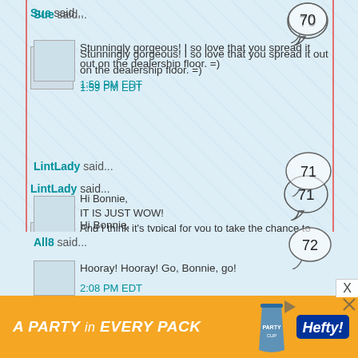Sue said...
Stunningly gorgeous! I so love that you spread it out on the dealership floor. =)
1:59 PM EDT
LintLady said...
Hi Bonnie,
IT IS JUST WOW!
And I think it's typical for you to take the chance to sew and spread the top out where ever you are! I love that! Everyone else wouldn't dare to.Hahaha.
Hugs from Doris
2:07 PM EDT
All8 said...
Hooray! Hooray! Go, Bonnie, go!
2:08 PM EDT
[Figure (infographic): Hefty party cups advertisement banner: orange background, white bold italic text 'A PARTY in EVERY PACK', Hefty logo and party cup product image on the right]